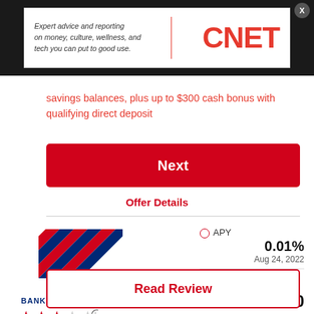[Figure (logo): CNET advertisement banner with CNET logo in red and italic text 'Expert advice and reporting on money, culture, wellness, and tech you can put to good use.']
savings balances, plus up to $300 cash bonus with qualifying direct deposit
Next
Offer Details
[Figure (logo): Bank of America logo with stylized flag icon in red, white, and blue stripes]
BANK OF AMERICA
★★★☆☆
SAVINGS ACCOUNT
Member FDIC
| APY | 0.01% | Aug 24, 2022 |
| Min. balance for APY | $100 |  |
| Est. earnings | $3 | Over 1 Year |
Read Review